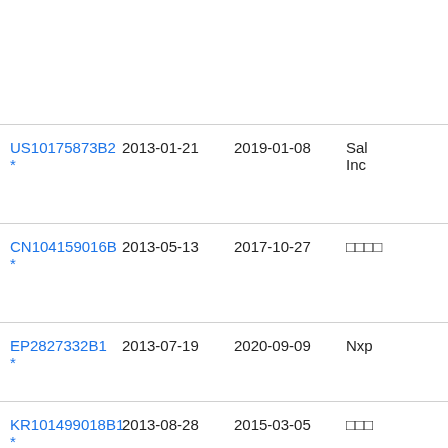| Patent Number | Filing Date | Publication Date | Assignee |
| --- | --- | --- | --- |
| US10175873B2 * | 2013-01-21 | 2019-01-08 | Sal Inc |
| CN104159016B * | 2013-05-13 | 2017-10-27 | □□□□ |
| EP2827332B1 * | 2013-07-19 | 2020-09-09 | Nxp |
| KR101499018B1 * | 2013-08-28 | 2015-03-05 | □□□ |